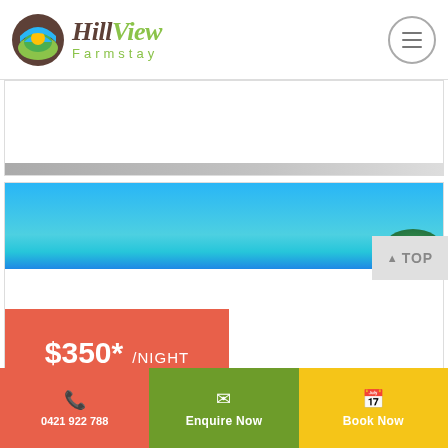[Figure (logo): Hillview Farmstay logo with circular icon showing a green hill with yellow sun and blue sky, and stylized text 'HillView Farmstay']
[Figure (photo): Partial photo strip visible at top, appears to be a landscape or farmstay image, mostly cropped out]
[Figure (photo): Blue sky photo banner with green trees visible at bottom right corner]
$350* /NIGHT
0421 922 788 | Enquire Now | Book Now